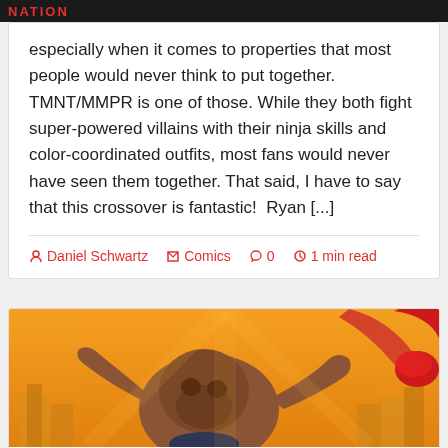NATION
especially when it comes to properties that most people would never think to put together. TMNT/MMPR is one of those. While they both fight super-powered villains with their ninja skills and color-coordinated outfits, most fans would never have seen them together. That said, I have to say that this crossover is fantastic!  Ryan [...]
Daniel Schwartz   Comics   0   1 min read
[Figure (illustration): Comic book illustration showing a muscular gorilla-like creature grappling with a superhero figure. Orange/yellow background with city buildings visible. A red-gloved fist visible at top right.]